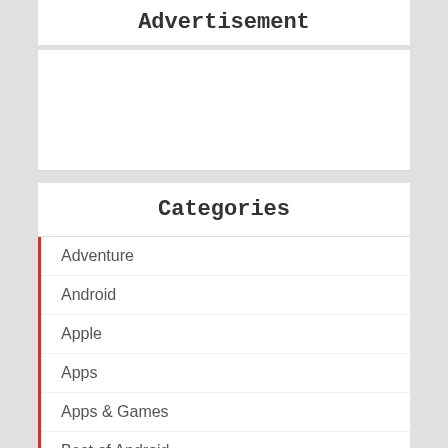Advertisement
[Figure (other): Advertisement placeholder box]
Categories
Adventure
Android
Apple
Apps
Apps & Games
Best of Android
Casual